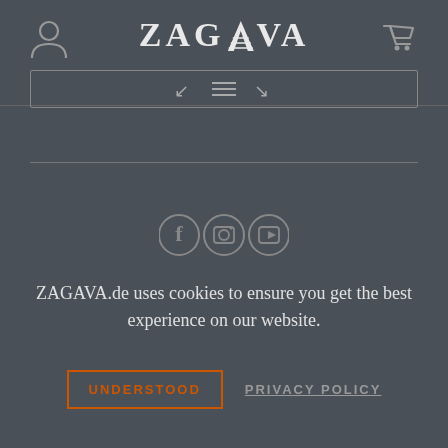[Figure (logo): ZAGAVA brand logo with stylized 'W' in the middle of the text, displayed in light grey on dark background]
[Figure (other): Navigation bar with hamburger/menu icons and bracket decorations]
[Figure (other): Three social media icons in circles: Facebook (f), Instagram (camera), YouTube (play button)]
ZAGAVA.de uses cookies to ensure you get the best experience on our website.
UNDERSTOOD
PRIVACY POLICY